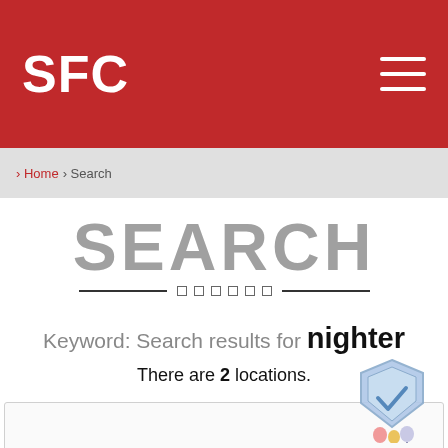SFC
› Home › Search
SEARCH
Keyword: Search results for nighter
There are 2 locations.
[Figure (illustration): Badge/award icon with a shield shape and balloon decorations]